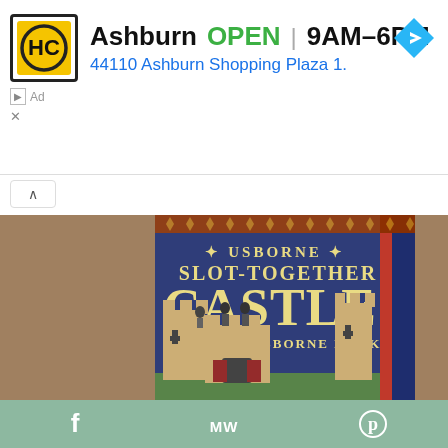[Figure (screenshot): Mobile app screenshot showing Half Price Books store listing for Ashburn location with OPEN status, hours 9AM–6PM, address 44110 Ashburn Shopping Plaza 1., navigation arrow icon. Below is a product photo of Usborne Slot-Together Castle book with an Usborne book, showing a blue cover with castle illustration and medieval figures. Ad badge and close button visible. Bottom social sharing bar with Facebook, MW, and Pinterest icons.]